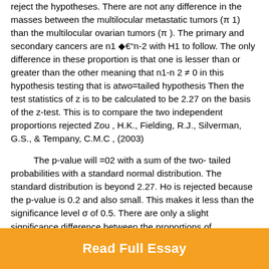reject the hypotheses. There are not any difference in the masses between the multilocular metastatic tumors (π 1) than the multilocular ovarian tumors (π ). The primary and secondary cancers are n1 ◆€n-2 with H1 to follow. The only difference in these proportion is that one is lesser than or greater than the other meaning that n1-n 2 ≠ 0 in this hypothesis testing that is atwo=tailed hypothesis Then the test statistics of z is to be calculated to be 2.27 on the basis of the z-test. This is to compare the two independent proportions rejected Zou , H.K., Fielding, R.J., Silverman, G.S., & Tempany, C.M.C , (2003)
The p-value will =02 with a sum of the two- tailed probabilities with a standard normal distribution. The standard distribution is beyond 2.27. Ho is rejected because the p-value is 0.2 and also small. This makes it less than the significance level σ of 0.5. There are only a slight significance difference between the proportions of
Read Full Essay